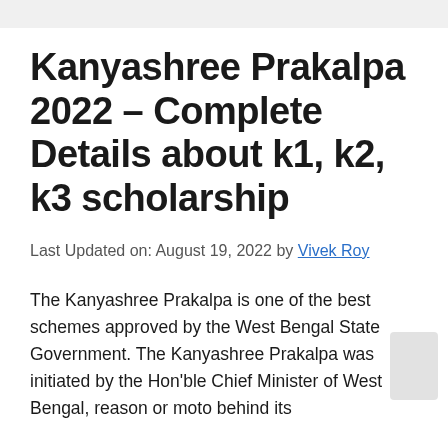Kanyashree Prakalpa 2022 – Complete Details about k1, k2, k3 scholarship
Last Updated on: August 19, 2022 by Vivek Roy
The Kanyashree Prakalpa is one of the best schemes approved by the West Bengal State Government. The Kanyashree Prakalpa was initiated by the Hon'ble Chief Minister of West Bengal, reason or moto behind its